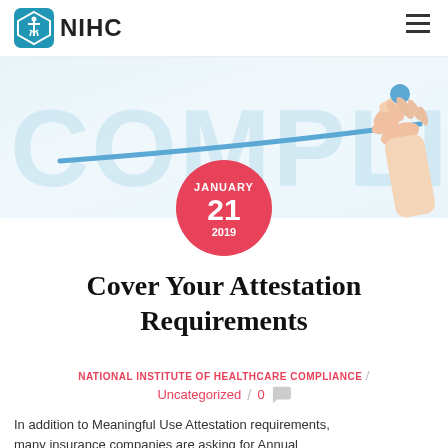NIHC
[Figure (photo): A hand holding a blue highlighter marker underlining the word COMPLIANCE in large light-blue text, with a blue underline stroke.]
Cover Your Attestation Requirements
NATIONAL INSTITUTE OF HEALTHCARE COMPLIANCE / Uncategorized / 0
In addition to Meaningful Use Attestation requirements, many insurance companies are asking for Annual